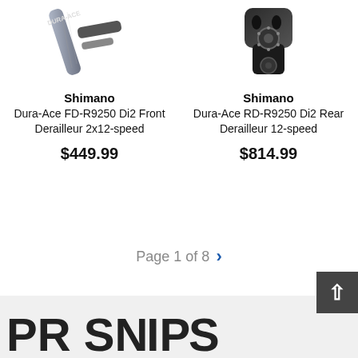[Figure (photo): Shimano Dura-Ace FD-R9250 Di2 Front Derailleur product photo, close-up showing carbon fiber and metal components, top portion visible]
Shimano
Dura-Ace FD-R9250 Di2 Front Derailleur 2x12-speed
$449.99
[Figure (photo): Shimano Dura-Ace RD-R9250 Di2 Rear Derailleur product photo, black angled component with sprockets visible]
Shimano
Dura-Ace RD-R9250 Di2 Rear Derailleur 12-speed
$814.99
Page 1 of 8
[Figure (logo): Partial logo text visible in footer gray bar, large bold letters, partial brand name cut off at bottom]